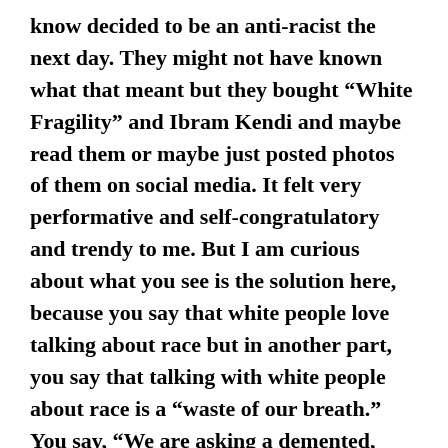know decided to be an anti-racist the next day. They might not have known what that meant but they bought “White Fragility” and Ibram Kendi and maybe read them or maybe just posted photos of them on social media. It felt very performative and self-congratulatory and trendy to me. But I am curious about what you see is the solution here, because you say that white people love talking about race but in another part, you say that talking with white people about race is a “waste of our breath.” You say, “We are asking a demented, violent predator who thinks they are a saint or a superhero, to accept responsibility. They have five holes in their brain. It’s not going to happen. It’s like banging your head against a brick wall. Not a good idea.” But you do talk to white people about race. You were doing it at Yale. Walk me through that.